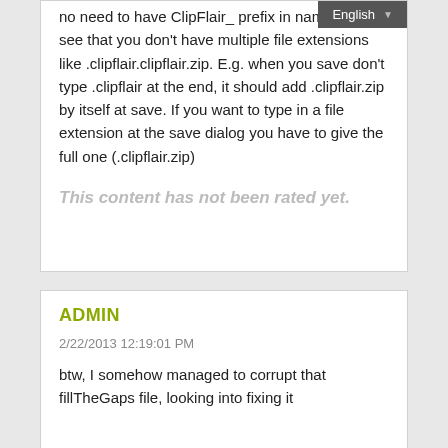no need to have ClipFlair_ prefix in names, also see that you don't have multiple file extensions like .clipflair.clipflair.zip. E.g. when you save don't type .clipflair at the end, it should add .clipflair.zip by itself at save. If you want to type in a file extension at the save dialog you have to give the full one (.clipflair.zip)
This content has not been rated yet.
ADMIN
2/22/2013 12:19:01 PM
btw, I somehow managed to corrupt that fillTheGaps file, looking into fixing it